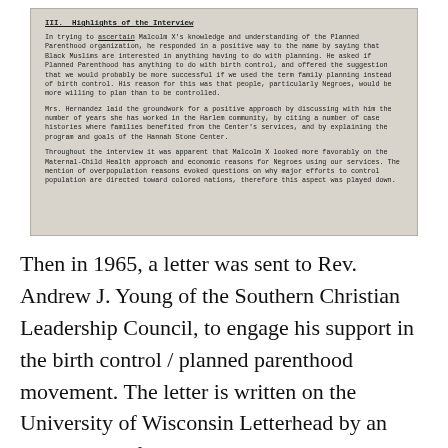[Figure (screenshot): Scanned typewritten document page showing Section III titled 'Highlights of the Interview' with three paragraphs discussing Malcolm X's views on Planned Parenthood, Mrs. Hernandez laying groundwork, and Malcolm X's reactions during the interview.]
Then in 1965, a letter was sent to Rev. Andrew J. Young of the Southern Christian Leadership Council, to engage his support in the birth control / planned parenthood movement. The letter is written on the University of Wisconsin Letterhead by an associate professor who begins by telling Young that his father was a sociologist in India aiding in population planning as a consultant with the